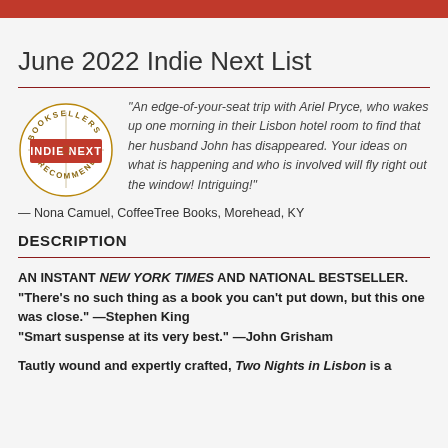June 2022 Indie Next List
[Figure (logo): Indie Next Booksellers Recommend circular badge/stamp logo]
“An edge-of-your-seat trip with Ariel Pryce, who wakes up one morning in their Lisbon hotel room to find that her husband John has disappeared. Your ideas on what is happening and who is involved will fly right out the window! Intriguing!”
— Nona Camuel, CoffeeTree Books, Morehead, KY
DESCRIPTION
AN INSTANT NEW YORK TIMES AND NATIONAL BESTSELLER. “There’s no such thing as a book you can’t put down, but this one was close.” —Stephen King “Smart suspense at its very best.” —John Grisham
Tautly wound and expertly crafted, Two Nights in Lisbon is a